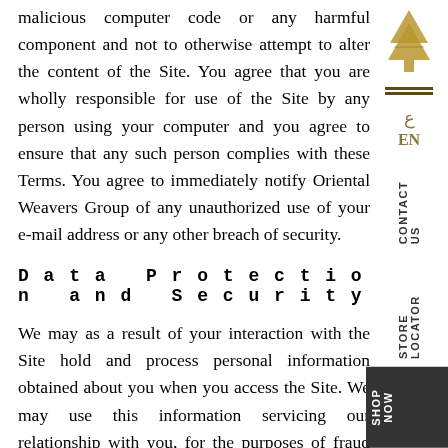malicious computer code or any harmful component and not to otherwise attempt to alter the content of the Site. You agree that you are wholly responsible for use of the Site by any person using your computer and you agree to ensure that any such person complies with these Terms. You agree to immediately notify Oriental Weavers Group of any unauthorized use of your e-mail address or any other breach of security.
Data Protection and Security
We may as a result of your interaction with the Site hold and process personal information obtained about you when you access the Site. We may use this information servicing our relationship with you, for the purposes of fraud prevention, audit and debt collection, to identify products and services which may be relevant to you from selected third parties, to evaluate the effectiveness of our marketing of the Site and for statistical analysis. We will not disclose any such information outside of Oriental Weavers Group except where we are authorized by you or by the law to do so,